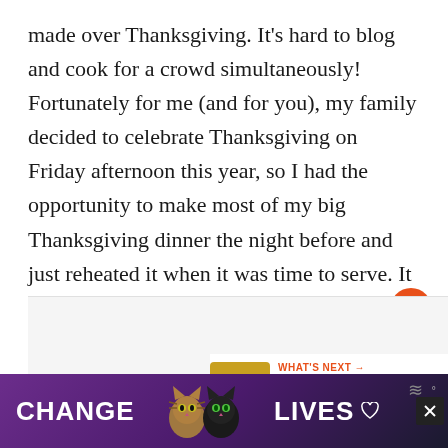made over Thanksgiving. It's hard to blog and cook for a crowd simultaneously! Fortunately for me (and for you), my family decided to celebrate Thanksgiving on Friday afternoon this year, so I had the opportunity to make most of my big Thanksgiving dinner the night before and just reheated it when it was time to serve. It worked out perfectly.
[Figure (screenshot): Partial image area visible at bottom of content, appears to be a food/recipe image]
[Figure (screenshot): What's Next widget showing Turkey Bone Broth Soup with thumbnail of golden mugs, heart button and share button UI elements]
[Figure (screenshot): Advertisement banner: CHANGE LIVES with cat images on dark purple background]